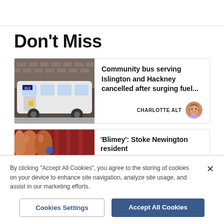Don't Miss
[Figure (photo): White community minibus (number 812) parked on a street in front of a brick building]
Community bus serving Islington and Hackney cancelled after surging fuel...
CHARLOTTE ALT
[Figure (photo): Close-up of sausages hanging in front of a red background]
'Blimey': Stoke Newington resident
By clicking "Accept All Cookies", you agree to the storing of cookies on your device to enhance site navigation, analyze site usage, and assist in our marketing efforts.
Cookies Settings
Accept All Cookies